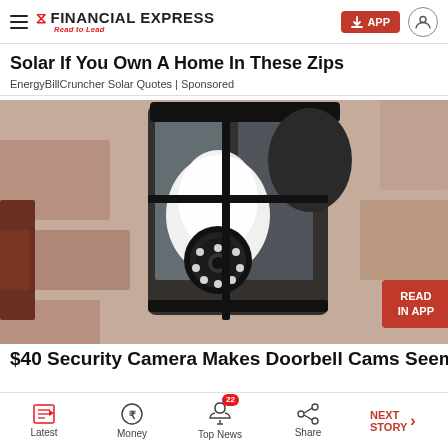FINANCIAL EXPRESS — Read to Lead
Solar If You Own A Home In These Zips
EnergyBillCruncher Solar Quotes | Sponsored
[Figure (photo): A security camera shaped like a light bulb installed inside an outdoor wall lantern fixture mounted on a stone/stucco wall. A red badge in the bottom-right reads 'READ IN APP'.]
$40 Security Camera Makes Doorbell Cams Seem...
Latest | Money | Top News (22) | Share | NEXT STORY